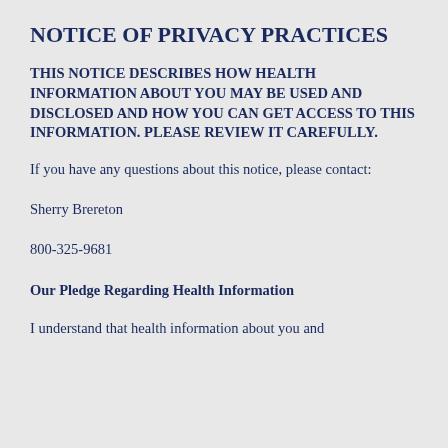NOTICE OF PRIVACY PRACTICES
THIS NOTICE DESCRIBES HOW HEALTH INFORMATION ABOUT YOU MAY BE USED AND DISCLOSED AND HOW YOU CAN GET ACCESS TO THIS INFORMATION. PLEASE REVIEW IT CAREFULLY.
If you have any questions about this notice, please contact:
Sherry Brereton
800-325-9681
Our Pledge Regarding Health Information
I understand that health information about you and